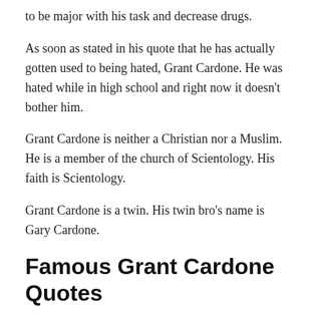to be major with his task and decrease drugs.
As soon as stated in his quote that he has actually gotten used to being hated, Grant Cardone. He was hated while in high school and right now it doesn’t bother him.
Grant Cardone is neither a Christian nor a Muslim. He is a member of the church of Scientology. His faith is Scientology.
Grant Cardone is a twin. His twin bro’s name is Gary Cardone.
Famous Grant Cardone Quotes
“You sleep like you’re rich… I’m up like I’m broke.” –